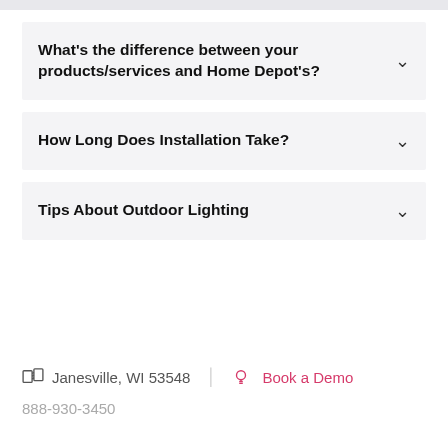What's the difference between your products/services and Home Depot's?
How Long Does Installation Take?
Tips About Outdoor Lighting
Janesville, WI 53548   Book a Demo
888-930-3450